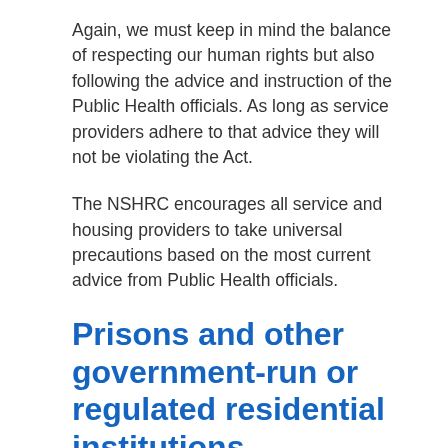Again, we must keep in mind the balance of respecting our human rights but also following the advice and instruction of the Public Health officials. As long as service providers adhere to that advice they will not be violating the Act.
The NSHRC encourages all service and housing providers to take universal precautions based on the most current advice from Public Health officials.
Prisons and other government-run or regulated residential institutions
The NSHRC urges a human rights-focused approach to addressing evidence-based risks associated with COVID-19 in these facilities. This should include having comprehensive and